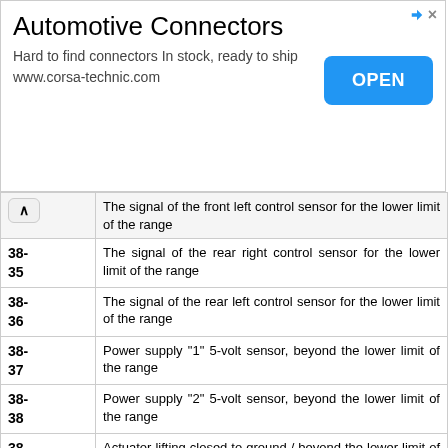[Figure (screenshot): Advertisement banner for Automotive Connectors from www.corsa-technic.com with an OPEN button]
| Code | Description |
| --- | --- |
| 38-35 | The signal of the rear right control sensor for the lower limit of the range |
| 38-36 | The signal of the rear left control sensor for the lower limit of the range |
| 38-37 | Power supply "1" 5-volt sensor, beyond the lower limit of the range |
| 38-38 | Power supply "2" 5-volt sensor, beyond the lower limit of the range |
| 38-39 | Actuator lifting closed to ground / beyond the lower limit of the range |
| 38-40 | Tilt actuator shorted to ground / signal beyond low range |
| 38-41 | Incorrect direction of tilt actuator |
| 38-42 | Wrong direction of the lifting actuator |